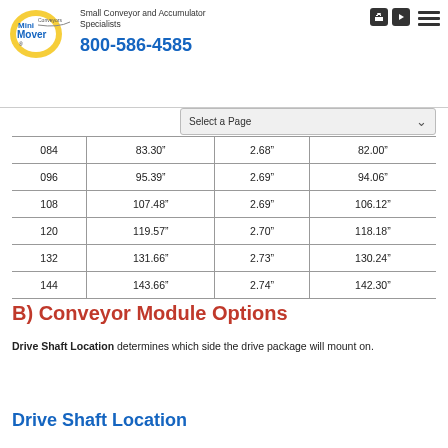Mini Mover Conveyors — Small Conveyor and Accumulator Specialists — 800-586-4585
| 084 | 83.30" | 2.68" | 82.00" |
| 096 | 95.39" | 2.69" | 94.06" |
| 108 | 107.48" | 2.69" | 106.12" |
| 120 | 119.57" | 2.70" | 118.18" |
| 132 | 131.66" | 2.73" | 130.24" |
| 144 | 143.66" | 2.74" | 142.30" |
B) Conveyor Module Options
Drive Shaft Location determines which side the drive package will mount on.
Drive Shaft Location